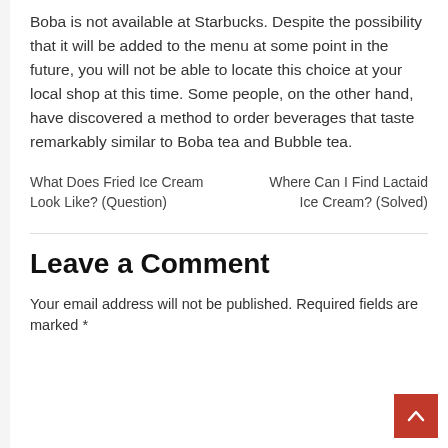Boba is not available at Starbucks. Despite the possibility that it will be added to the menu at some point in the future, you will not be able to locate this choice at your local shop at this time. Some people, on the other hand, have discovered a method to order beverages that taste remarkably similar to Boba tea and Bubble tea.
What Does Fried Ice Cream Look Like? (Question)   Where Can I Find Lactaid Ice Cream? (Solved)
Leave a Comment
Your email address will not be published. Required fields are marked *